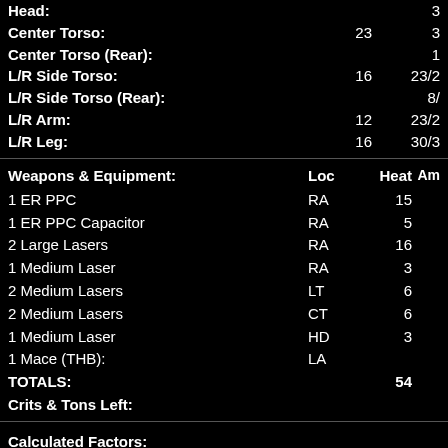| Location | Armor | Structure |
| --- | --- | --- |
| Head: |  | 3 |
| Center Torso: | 23 | 3 |
| Center Torso (Rear): |  | 1 |
| L/R Side Torso: | 16 | 23/2 |
| L/R Side Torso (Rear): |  | 8/ |
| L/R Arm: | 12 | 23/2 |
| L/R Leg: | 16 | 30/3 |
| Weapons & Equipment: | Loc | Heat | Am |
| --- | --- | --- | --- |
| 1 ER PPC | RA | 15 |  |
| 1 ER PPC Capacitor | RA | 5 |  |
| 2 Large Lasers | RA | 16 |  |
| 1 Medium Laser | RA | 3 |  |
| 2 Medium Lasers | LT | 6 |  |
| 2 Medium Lasers | CT | 6 |  |
| 1 Medium Laser | HD | 3 |  |
| 1 Mace (THB): | LA |  |  |
| TOTALS: |  | 54 |  |
| Crits & Tons Left: |  |  |  |
Calculated Factors:
Total Cost: 20,517,000 C-Bills
Battle Value: 1,565
Cost per BV: 13,109.9